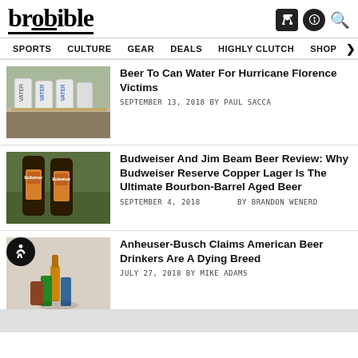brobible
SPORTS  CULTURE  GEAR  DEALS  HIGHLY CLUTCH  SHOP >
[Figure (photo): Cans labeled VATER on a shelf, water cans for hurricane relief]
Beer To Can Water For Hurricane Florence Victims
SEPTEMBER 13, 2018 BY PAUL SACCA
[Figure (photo): Two Budweiser Copper Lager bottles side by side in front of greenery]
Budweiser And Jim Beam Beer Review: Why Budweiser Reserve Copper Lager Is The Ultimate Bourbon-Barrel Aged Beer
SEPTEMBER 4, 2018  BY BRANDON WENERD
[Figure (photo): Assorted beer bottles and cans on a white surface]
Anheuser-Busch Claims American Beer Drinkers Are A Dying Breed
JULY 27, 2018 BY MIKE ADAMS